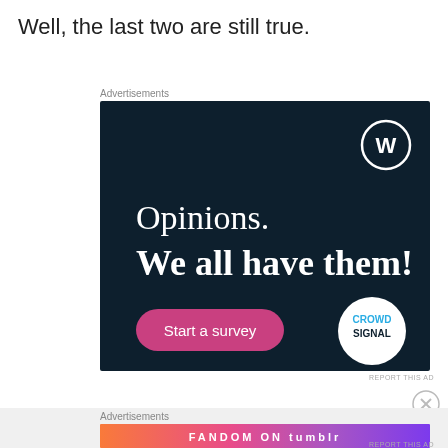Well, the last two are still true.
Advertisements
[Figure (illustration): WordPress/CrowdSignal advertisement with dark navy background. Shows WordPress logo (W in circle) top right, text 'Opinions. We all have them!' in white, a pink 'Start a survey' button, and a CrowdSignal logo circle bottom right.]
REPORT THIS AD
[Figure (illustration): Fandom on Tumblr banner advertisement with colorful gradient background (orange, pink, purple). Shows 'FANDOM ON tumblr' text with decorative elements.]
REPORT THIS AD